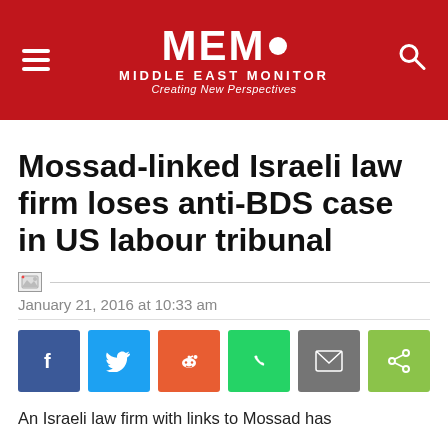MEMO MIDDLE EAST MONITOR Creating New Perspectives
Mossad-linked Israeli law firm loses anti-BDS case in US labour tribunal
[Figure (photo): Broken image placeholder with horizontal line]
January 21, 2016 at 10:33 am
[Figure (infographic): Social share buttons: Facebook, Twitter, Reddit, WhatsApp, Email, Share]
An Israeli law firm with links to Mossad has